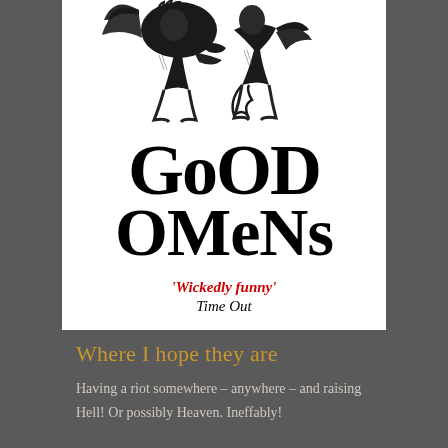[Figure (illustration): Black and white engraving-style illustration of two figures — an angel and a demon — sitting together, intertwined. One has wings and the other has a tail. Vintage woodcut style.]
Good Omens
'Wickedly funny' Time Out
Where I hope they are
Having a riot somewhere – anywhere – and raising Hell! Or possibly Heaven. Ineffably!